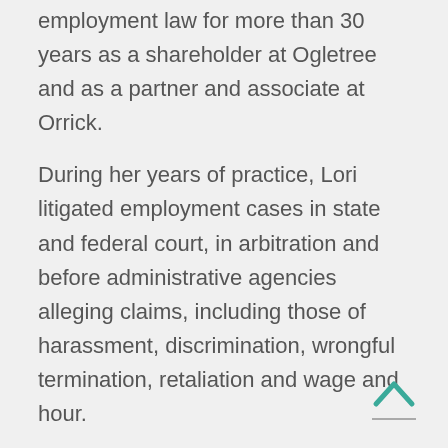employment law for more than 30 years as a shareholder at Ogletree and as a partner and associate at Orrick.
During her years of practice, Lori litigated employment cases in state and federal court, in arbitration and before administrative agencies alleging claims, including those of harassment, discrimination, wrongful termination, retaliation and wage and hour.
Lori also regularly advised clients on labor and employment law and conducted training and audits. She conducted, and participated in,